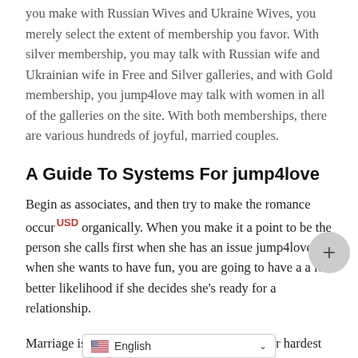you make with Russian Wives and Ukraine Wives, you merely select the extent of membership you favor. With silver membership, you may talk with Russian wife and Ukrainian wife in Free and Silver galleries, and with Gold membership, you jump4love may talk with women in all of the galleries on the site. With both memberships, there are various hundreds of joyful, married couples.
A Guide To Systems For jump4love
Begin as associates, and then try to make the romance occur organically. When you make it a point to be the person she calls first when she has an issue jump4love or when she wants to have fun, you are going to have a a lot better likelihood if she decides she's ready for a relationship.
Marriage is a contract and you've got to try your hardest to guantee that contract is bolstered. You cannot make the most effective resolution wheneve … e-